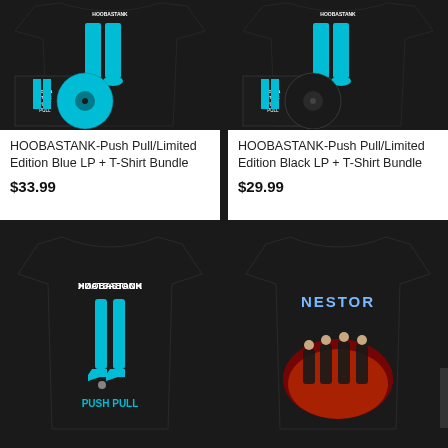[Figure (photo): HOOBASTANK Push Pull Limited Edition Blue LP + T-Shirt Bundle product photo showing black t-shirt with teal/blue figure graphic and blue vinyl record with album cover]
HOOBASTANK-Push Pull/Limited Edition Blue LP + T-Shirt Bundle
$33.99
[Figure (photo): HOOBASTANK Push Pull Limited Edition Black LP + T-Shirt Bundle product photo showing black t-shirt with teal/blue figure graphic and black vinyl record with album cover]
HOOBASTANK-Push Pull/Limited Edition Black LP + T-Shirt Bundle
$29.99
[Figure (photo): Black t-shirt showing back with HOOBASTANK text mirrored (reversed) and teal figure with PUSH PULL text at bottom]
[Figure (photo): Black t-shirt with NESTOR band logo and band photo on dark red/fire background]